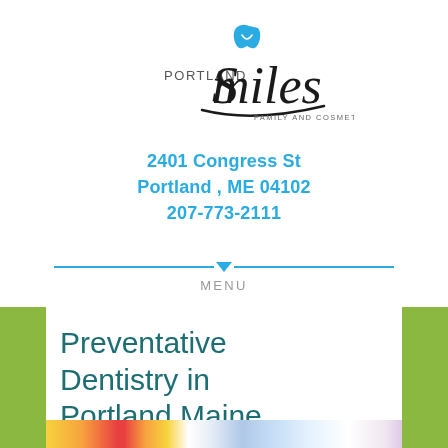[Figure (logo): Portland Smiles Family and Cosmetic Dentistry logo with stylized tooth/smile mark in blue above the word Smiles in italic script, PORTLAND in caps to the left, and FAMILY AND COSMETIC DENTISTRY tagline below]
2401 Congress St
Portland , ME 04102
207-773-2111
MENU
Preventative Dentistry in Portland Maine
[Figure (photo): Colorful image strip at the bottom of the page showing what appears to be a close-up dental/smile photo with bright colors]